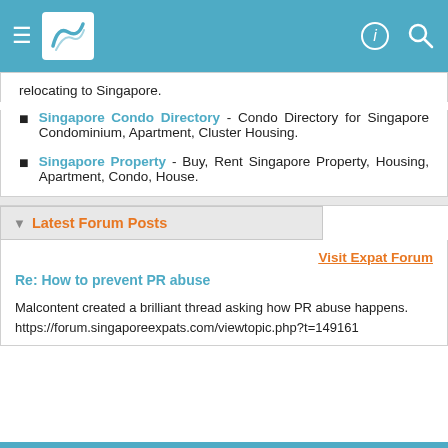Navigation header with logo and icons
relocating to Singapore.
Singapore Condo Directory - Condo Directory for Singapore Condominium, Apartment, Cluster Housing.
Singapore Property - Buy, Rent Singapore Property, Housing, Apartment, Condo, House.
▼ Latest Forum Posts
Visit Expat Forum
Re: How to prevent PR abuse
Malcontent created a brilliant thread asking how PR abuse happens.
https://forum.singaporeexpats.com/viewtopic.php?t=149161